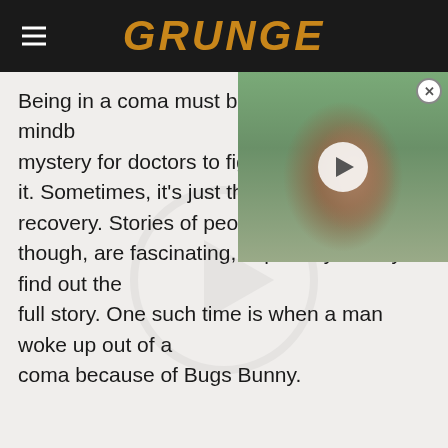GRUNGE
Being in a coma must be mindblowingly bitter still mystery for doctors to figure out it. Sometimes, it's just the strongest recovery. Stories of people waking up though, are fascinating, especially once you find out the full story. One such time is when a man woke up out of a coma because of Bugs Bunny.
[Figure (photo): Video thumbnail showing a man with curly dark hair wearing a white hoodie, outdoors with a street and buildings in background. Play button overlay in center. Close button (X) in top right corner.]